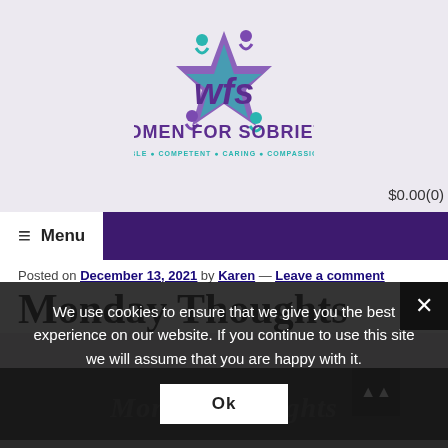[Figure (logo): Women for Sobriety (WFS) logo with stylized star/people graphic in teal and purple, with text WOMEN FOR SOBRIETY and tagline CAPABLE • COMPETENT • CARING • COMPASSIONATE]
$0.00(0)
≡  Menu
Posted on December 13, 2021 by Karen — Leave a comment
Monday Thoughts
[Figure (photo): Dark background image with italic text 'Monday Thoughts' watermarked]
We use cookies to ensure that we give you the best experience on our website. If you continue to use this site we will assume that you are happy with it.
Ok